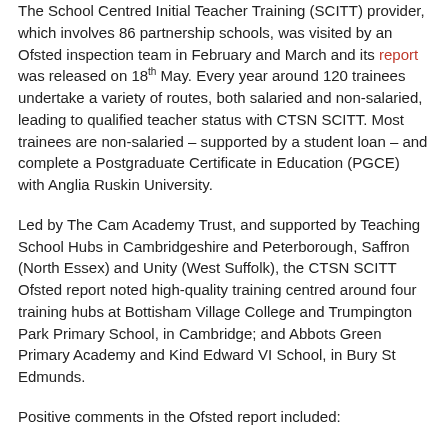The School Centred Initial Teacher Training (SCITT) provider, which involves 86 partnership schools, was visited by an Ofsted inspection team in February and March and its report was released on 18th May. Every year around 120 trainees undertake a variety of routes, both salaried and non-salaried, leading to qualified teacher status with CTSN SCITT. Most trainees are non-salaried – supported by a student loan – and complete a Postgraduate Certificate in Education (PGCE) with Anglia Ruskin University.
Led by The Cam Academy Trust, and supported by Teaching School Hubs in Cambridgeshire and Peterborough, Saffron (North Essex) and Unity (West Suffolk), the CTSN SCITT Ofsted report noted high-quality training centred around four training hubs at Bottisham Village College and Trumpington Park Primary School, in Cambridge; and Abbots Green Primary Academy and Kind Edward VI School, in Bury St Edmunds.
Positive comments in the Ofsted report included: